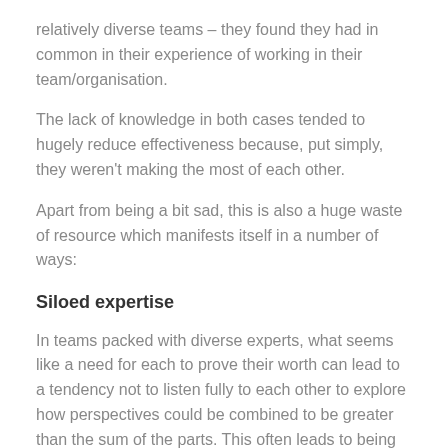relatively diverse teams – they found they had in common in their experience of working in their team/organisation.
The lack of knowledge in both cases tended to hugely reduce effectiveness because, put simply, they weren't making the most of each other.
Apart from being a bit sad, this is also a huge waste of resource which manifests itself in a number of ways:
Siloed expertise
In teams packed with diverse experts, what seems like a need for each to prove their worth can lead to a tendency not to listen fully to each other to explore how perspectives could be combined to be greater than the sum of the parts. This often leads to being stuck, unable to even to frame a question let alone answer it.